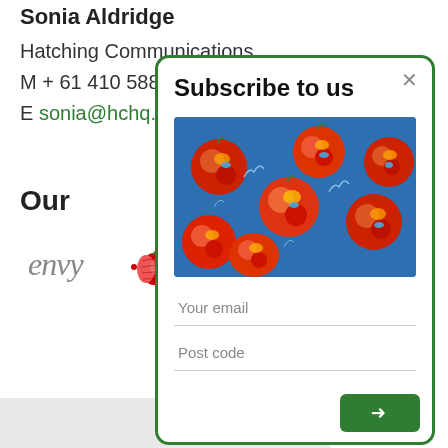Sonia Aldridge
Hatching Communications
M + 61 410 588 1…
E sonia@hchq.co…
Our…
[Figure (screenshot): Subscribe to us modal dialog with close button, apple photo, email input, post code input, and green submit button]
[Figure (logo): Envy apple brand logo in red and green]